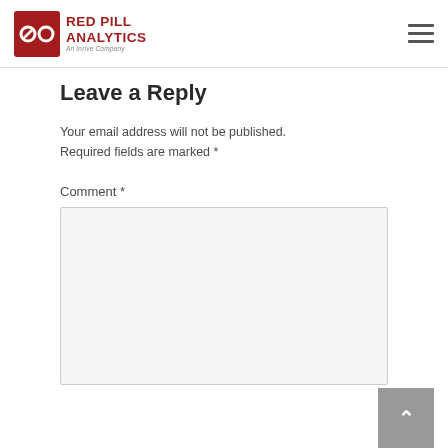Red Pill Analytics — An Inrive Company
Leave a Reply
Your email address will not be published. Required fields are marked *
Comment *
[Figure (other): Empty comment text area input box with light gray background]